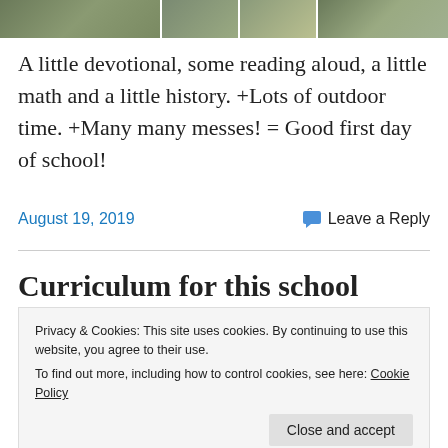[Figure (photo): Strip of four outdoor photos showing people in a garden setting]
A little devotional, some reading aloud, a little math and a little history.  +Lots of outdoor time.  +Many many messes!  = Good first day of school!
August 19, 2019
Leave a Reply
Curriculum for this school
Privacy & Cookies: This site uses cookies. By continuing to use this website, you agree to their use.
To find out more, including how to control cookies, see here: Cookie Policy
Close and accept
...will be giving the students a reason...